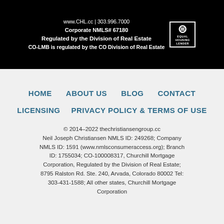www.CHL.cc | 303.996.7000
Corporate NMLS# 67180
Regulated by the Division of Real Estate
CO-LMB is regulated by the CO Division of Real Estate
HOME
ABOUT US
BLOG
CONTACT
LICENSING
PRIVACY POLICY & TERMS OF USE
© 2014–2022 thechristiansengroup.cc
Neil Joseph Christiansen NMLS ID: 249268; Company NMLS ID: 1591 (www.nmlsconsumeraccess.org); Branch ID: 1755034; CO-100008317, Churchill Mortgage Corporation, Regulated by the Division of Real Estate; 8795 Ralston Rd. Ste. 240, Arvada, Colorado 80002 Tel: 303-431-1588; All other states, Churchill Mortgage Corporation